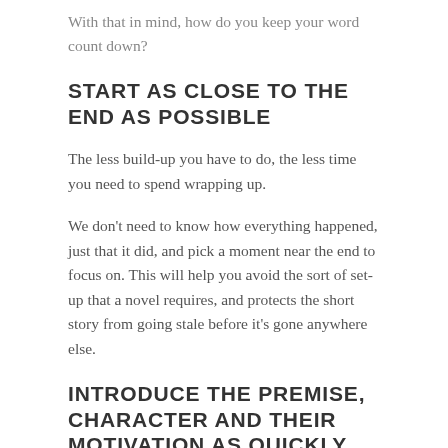With that in mind, how do you keep your word count down?
START AS CLOSE TO THE END AS POSSIBLE
The less build-up you have to do, the less time you need to spend wrapping up.
We don't need to know how everything happened, just that it did, and pick a moment near the end to focus on. This will help you avoid the sort of set-up that a novel requires, and protects the short story from going stale before it's gone anywhere else.
INTRODUCE THE PREMISE, CHARACTER AND THEIR MOTIVATION AS QUICKLY AS POSSIBLE
We should know everything we need to know from the get-